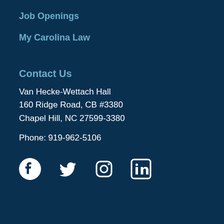Job Openings
My Carolina Law
Contact Us
Van Hecke-Wettach Hall
160 Ridge Road, CB #3380
Chapel Hill, NC 27599-3380
Phone: 919-962-5106
[Figure (infographic): Social media icons: Facebook, Twitter, Instagram, LinkedIn]